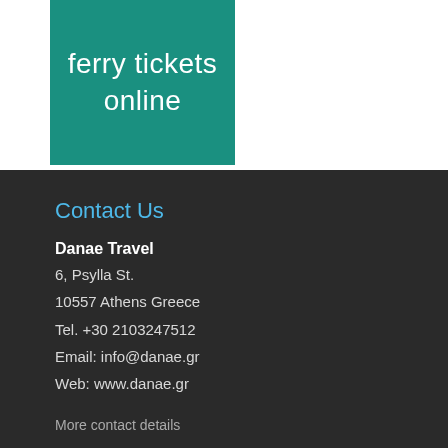[Figure (logo): Teal/green rectangle logo with white text reading 'ferry tickets online']
Contact Us
Danae Travel
6, Psylla St.
10557 Athens Greece
Tel. +30 2103247512
Email: info@danae.gr
Web: www.danae.gr
More contact details